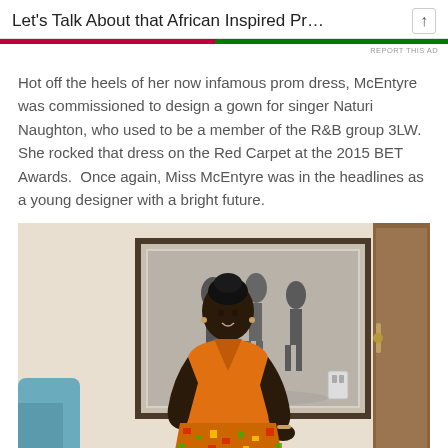Let's Talk About that African Inspired Pr…
Hot off the heels of her now infamous prom dress, McEntyre was commissioned to design a gown for singer Naturi Naughton, who used to be a member of the R&B group 3LW.  She rocked that dress on the Red Carpet at the 2015 BET Awards.  Once again, Miss McEntyre was in the headlines as a young designer with a bright future.
[Figure (photo): Woman in orange and African print dress standing in a room with a framed black-and-white artwork on the wall behind her and a wooden door to the right.]